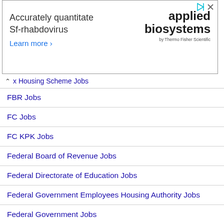[Figure (screenshot): Advertisement banner for Applied Biosystems with text 'Accurately quantitate Sf-rhabdovirus Learn more >' and Applied Biosystems logo on the right side]
x Housing Scheme Jobs
FBR Jobs
FC Jobs
FC KPK Jobs
Federal Board of Revenue Jobs
Federal Directorate of Education Jobs
Federal Government Employees Housing Authority Jobs
Federal Government Jobs
Federal Investigation Agency
Federal Public Service Commission Jobs
Federal Shariat Court Jobs
Federal Tax Jobs
FGEHA Jobs